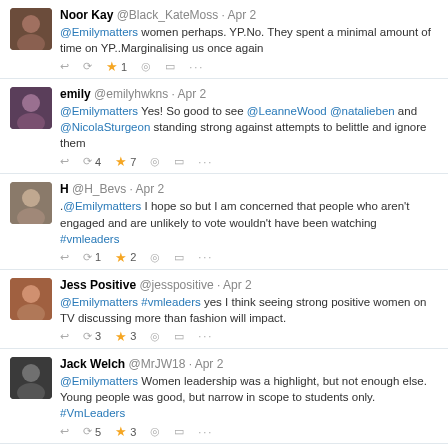[Figure (screenshot): Screenshot of a Twitter/social media feed showing multiple tweets about the Leaders' debate and women in politics. Tweets by Noor Kay, emily, H, Jess Positive, Jack Welch, and Becky H Illustration, all dated Apr 2.]
.
If you missed the Leaders' debate and want a brief introduction to each of the 7 leaders, see our pre Why #votingmatters chat post for 15 second clips (from the BBC Election team) about